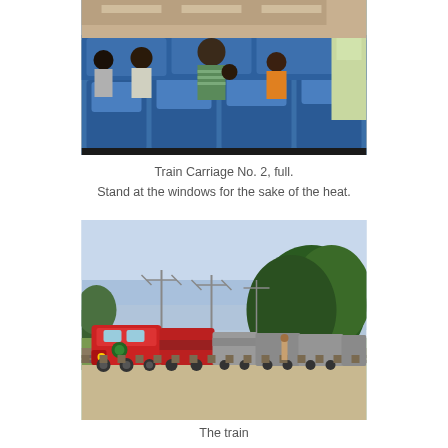[Figure (photo): Interior of a train carriage with blue seats, several passengers including children seated and standing, windows visible on the right side.]
Train Carriage No. 2, full.
Stand at the windows for the sake of the heat.
[Figure (photo): Exterior photograph of a red diesel locomotive pulling a long train along tracks through a green landscape with trees and blue sky.]
The train